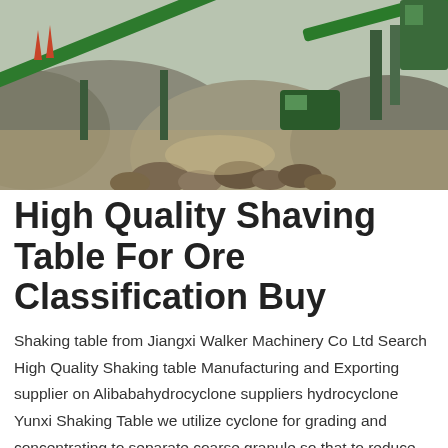[Figure (photo): Aerial/ground-level view of a mining/quarry site with large piles of crushed aggregate and green conveyor belt machinery (screening/shaking equipment) in the background.]
High Quality Shaving Table For Ore Classification Buy
Shaking table from Jiangxi Walker Machinery Co Ltd Search High Quality Shaking table Manufacturing and Exporting supplier on Alibabahydrocyclone suppliers hydrocyclone Yunxi Shaking Table we utilize cyclone for grading and concentrating to separate coarse granule so that to reduce High Quality Shaving Table For Ore Classification Find Complete Details about High Quality Shaving Table For Ore Classification